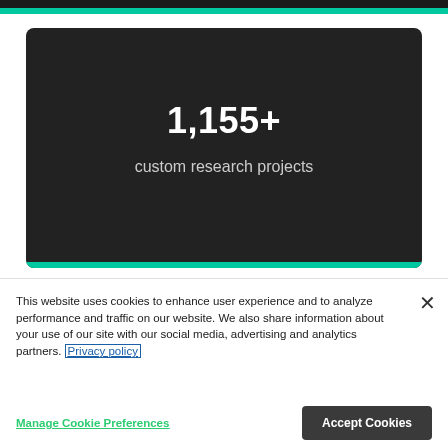[Figure (infographic): Dark card with stat: 1,155+ custom research projects, with teal accent stripes top and bottom]
This website uses cookies to enhance user experience and to analyze performance and traffic on our website. We also share information about your use of our site with our social media, advertising and analytics partners. Privacy policy
Manage Cookie Preferences
Accept Cookies